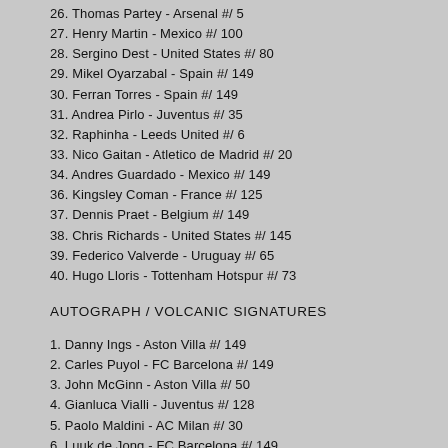26. Thomas Partey - Arsenal #/ 5
27. Henry Martin - Mexico #/ 100
28. Sergino Dest - United States #/ 80
29. Mikel Oyarzabal - Spain #/ 149
30. Ferran Torres - Spain #/ 149
31. Andrea Pirlo - Juventus #/ 35
32. Raphinha - Leeds United #/ 6
33. Nico Gaitan - Atletico de Madrid #/ 20
34. Andres Guardado - Mexico #/ 149
36. Kingsley Coman - France #/ 125
37. Dennis Praet - Belgium #/ 149
38. Chris Richards - United States #/ 145
39. Federico Valverde - Uruguay #/ 65
40. Hugo Lloris - Tottenham Hotspur #/ 73
AUTOGRAPH / VOLCANIC SIGNATURES
1. Danny Ings - Aston Villa #/ 149
2. Carles Puyol - FC Barcelona #/ 149
3. John McGinn - Aston Villa #/ 50
4. Gianluca Vialli - Juventus #/ 128
5. Paolo Maldini - AC Milan #/ 30
6. Luuk de Jong - FC Barcelona #/ 149
7. David Beckham - England #/ 85
8. Ben Mee - Burnley #/ 13
9. Luca Toni - Juventus #/ 149
10. Ki-Jana Hoever - Wolverhampton Wanderers #/ 149